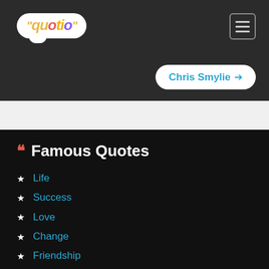[Figure (logo): Quotio logo in colorful cloud shape with quotation marks]
Chris Smylie →
Famous Quotes
Life
Success
Love
Change
Friendship
Family